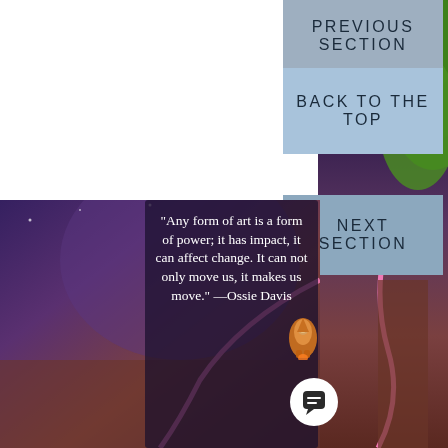PREVIOUS SECTION
BACK TO THE TOP
NEXT SECTION
[Figure (illustration): Colorful illustrated background with green tree/hair shape on right side, pink curved line, and purple-brown night sky scene. Contains a rocket icon and chat bubble overlay icon.]
“Any form of art is a form of power; it has impact, it can affect change. It can not only move us, it makes us move.” —Ossie Davis